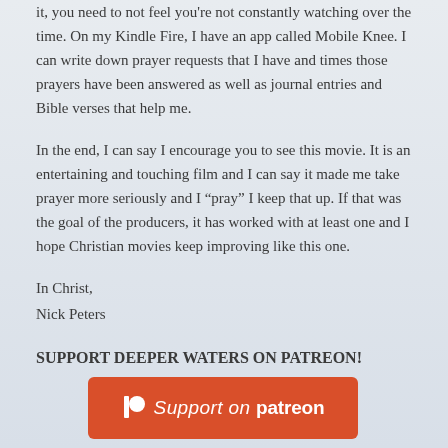it, you need to not feel you're not constantly watching over the time. On my Kindle Fire, I have an app called Mobile Knee. I can write down prayer requests that I have and times those prayers have been answered as well as journal entries and Bible verses that help me.
In the end, I can say I encourage you to see this movie. It is an entertaining and touching film and I can say it made me take prayer more seriously and I “pray” I keep that up. If that was the goal of the producers, it has worked with at least one and I hope Christian movies keep improving like this one.
In Christ,
Nick Peters
SUPPORT DEEPER WATERS ON PATREON!
[Figure (logo): Patreon support button - orange rounded rectangle with 'Support on patreon' text and Patreon logo]